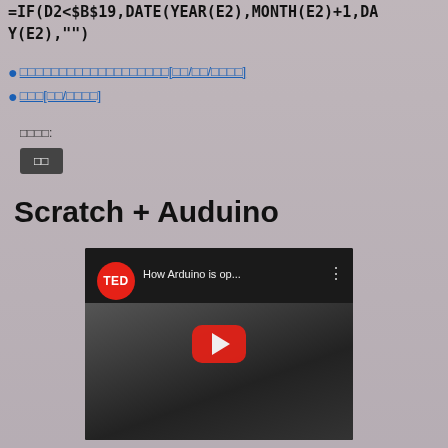=IF(D2<$B$19,DATE(YEAR(E2),MONTH(E2)+1,DAY(E2)),"")
□□□□□□□□□□□□□□□□□□□[□□/□□/□□□□]
□□□[□□/□□□□]
□□□□:
□□ (button)
Scratch + Auduino
[Figure (screenshot): YouTube video thumbnail showing a TED talk titled 'How Arduino is op...' with a man on stage gesturing with his hands, with a red YouTube play button overlay and the TED logo in the top left corner.]